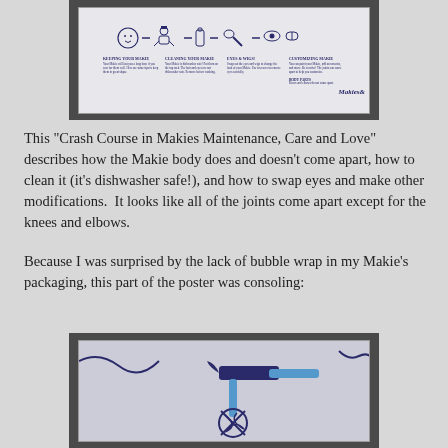[Figure (photo): Photo of a Makies 'Crash Course in Makies Maintenance, Care and Love' poster laid on a dark surface, showing illustrated icons and columns of text with the Makies logo/brand signature.]
This "Crash Course in Makies Maintenance, Care and Love" describes how the Makie body does and doesn't come apart, how to clean it (it's dishwasher safe!), and how to swap eyes and make other modifications.  It looks like all of the joints come apart except for the knees and elbows.
Because I was surprised by the lack of bubble wrap in my Makie's packaging, this part of the poster was consoling:
[Figure (photo): Close-up photo of part of the Makies poster showing an illustration of a hammer above a crossed-out tangled mess, indicating something not to do (consoling message about packaging/care).]